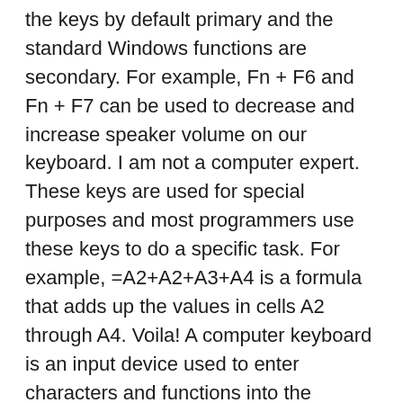the keys by default primary and the standard Windows functions are secondary. For example, Fn + F6 and Fn + F7 can be used to decrease and increase speaker volume on our keyboard. I am not a computer expert. These keys are used for special purposes and most programmers use these keys to do a specific task. For example, =A2+A2+A3+A4 is a formula that adds up the values in cells A2 through A4. Voila! A computer keyboard is an input device used to enter characters and functions into the computer system by pressing buttons, or keys. Revert / Invert Fn key using the keyboard. Let us learn about a few more keys on a keyboard. Mute the laptop's internal speaker . Pressing Alt + Ctrl + F2 in Microsoft Word will bring up the Open window. The table below identifies non-alphanumeric keys with a description or link for additional information. What exact model number do you have? Get free backup software to backup the entire system and your data on the hard drive. Actually, they can be used together with the Alt and Ctrl keys to